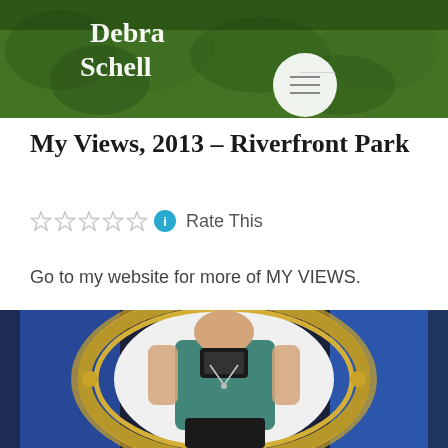[Figure (photo): Header banner with 'Debra Schell' text over green hedge/garden background with a circular white logo/menu icon]
My Views, 2013 – Riverfront Park
Rate This (with 5 empty stars and info icon)
Go to my website for more of MY VIEWS.
[Figure (photo): Mirror selfie of a person in a teal sleeveless top holding a phone, reflected in an ornate gold oval mirror, with blue fabric in background]